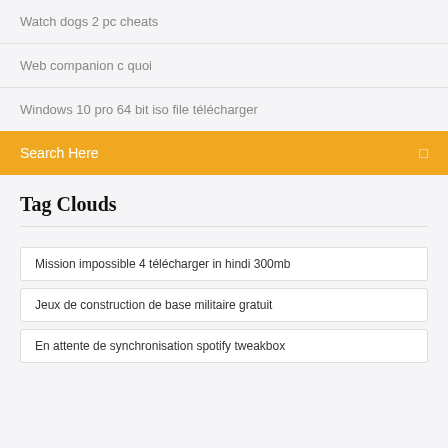Watch dogs 2 pc cheats
Web companion c quoi
Windows 10 pro 64 bit iso file télécharger
Search Here
Tag Clouds
Mission impossible 4 télécharger in hindi 300mb
Jeux de construction de base militaire gratuit
En attente de synchronisation spotify tweakbox